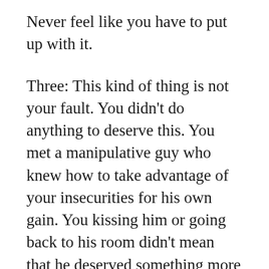Never feel like you have to put up with it.
Three: This kind of thing is not your fault. You didn't do anything to deserve this. You met a manipulative guy who knew how to take advantage of your insecurities for his own gain. You kissing him or going back to his room didn't mean that he deserved something more from you. As hard as this may be to hear, you were the victim here.
I strongly advise that you talk to someone about this. Seeing a therapist or counselor could be a really good thing for you. Talking to trusted friends is great, but a professional knows how to